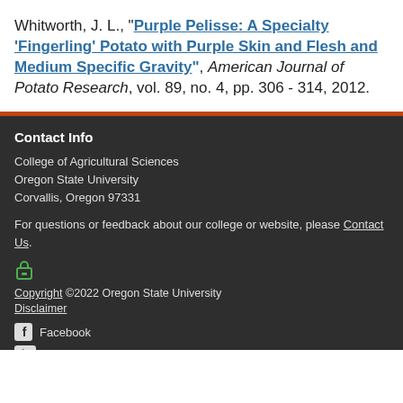Whitworth, J. L., "Purple Pelisse: A Specialty 'Fingerling' Potato with Purple Skin and Flesh and Medium Specific Gravity", American Journal of Potato Research, vol. 89, no. 4, pp. 306 - 314, 2012.
Contact Info
College of Agricultural Sciences
Oregon State University
Corvallis, Oregon 97331
For questions or feedback about our college or website, please Contact Us.
Copyright ©2022 Oregon State University
Disclaimer
Facebook
YouTube
LinkedIn